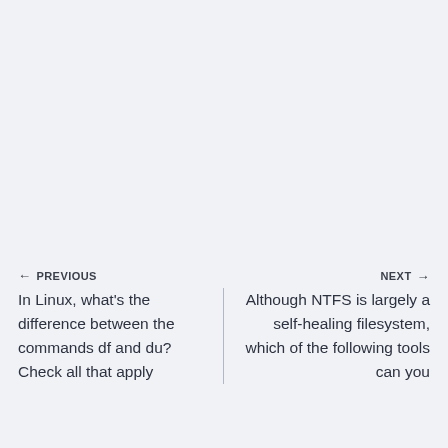← PREVIOUS | NEXT →
In Linux, what's the difference between the commands df and du? Check all that apply
Although NTFS is largely a self-healing filesystem, which of the following tools can you